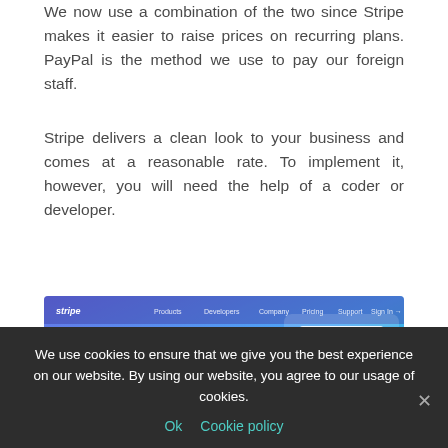We now use a combination of the two since Stripe makes it easier to raise prices on recurring plans. PayPal is the method we use to pay our foreign staff.
Stripe delivers a clean look to your business and comes at a reasonable rate. To implement it, however, you will need the help of a coder or developer.
[Figure (screenshot): Screenshot of the Stripe website homepage showing navigation bar with Products, Developers, Company, Pricing, Support, Sign In links, and the tagline 'The new standard in online payments' on a blue gradient background with a mobile device mockup.]
We use cookies to ensure that we give you the best experience on our website. By using our website, you agree to our usage of cookies.
Ok   Cookie policy